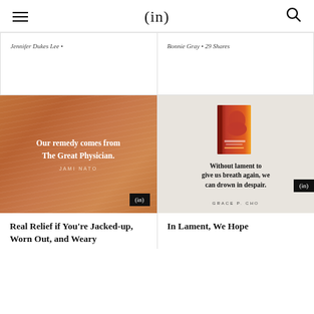(in)
Jennifer Dukes Lee •
Bonnie Gray • 29 Shares
[Figure (illustration): Woodgrain textured card with quote: 'Our remedy comes from The Great Physician.' attributed to JAMI NATO, with (in) badge]
[Figure (illustration): Light beige card showing a book cover 'Wild of Jasmine' and quote: 'Without lament to give us breath again, we can drown in despair.' attributed to GRACE P. CHO, with (in) badge]
Real Relief if You're Jacked-up, Worn Out, and Weary
In Lament, We Hope